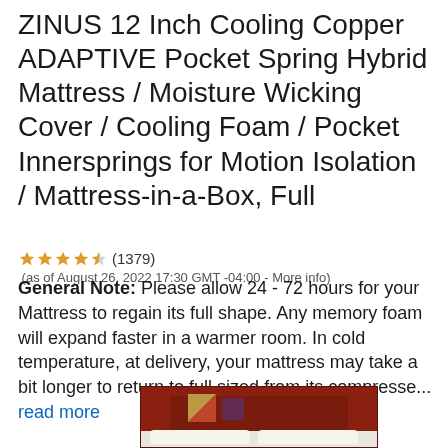ZINUS 12 Inch Cooling Copper ADAPTIVE Pocket Spring Hybrid Mattress / Moisture Wicking Cover / Cooling Foam / Pocket Innersprings for Motion Isolation / Mattress-in-a-Box, Full
4.5 stars (1379) (as of August 26, 2022 17:30 GMT -04:00 - More info) General Note: Please allow 24 - 72 hours for your Mattress to regain its full shape. Any memory foam will expand faster in a warmer room. In cold temperature, at delivery, your mattress may take a bit longer to return to full sized from its compresse... read more
[Figure (photo): Partial product image showing a bed with a dark red/maroon headboard and white bedding, with geometric wall art.]